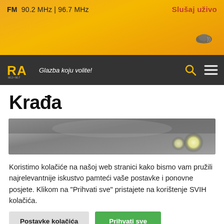FM 90.2 MHz | 96.7 MHz
Slušaj uživo
[Figure (logo): RA Radio logo with yellow text on dark background, with tagline 'Glazba koju volite!']
Krađa
[Figure (photo): Dark photo of a car interior/windshield at night with headlights visible]
Koristimo kolačiće na našoj web stranici kako bismo vam pružili najrelevantnije iskustvo pamteći vaše postavke i ponovne posjete. Klikom na "Prihvati sve" pristajete na korištenje SVIH kolačića.
Postavke kolačića
Prihvati sve